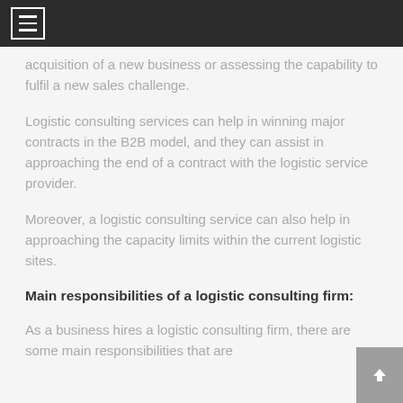[menu icon]
acquisition of a new business or assessing the capability to fulfil a new sales challenge.
Logistic consulting services can help in winning major contracts in the B2B model, and they can assist in approaching the end of a contract with the logistic service provider.
Moreover, a logistic consulting service can also help in approaching the capacity limits within the current logistic sites.
Main responsibilities of a logistic consulting firm:
As a business hires a logistic consulting firm, there are some main responsibilities that are